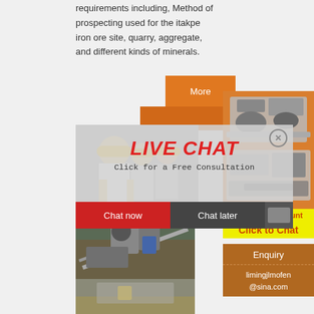requirements including, Method of prospecting used for the itakpe iron ore site, quarry, aggregate, and different kinds of minerals.
[Figure (screenshot): Live chat popup overlay showing workers in hard hats, LIVE CHAT heading in red italic, 'Click for a Free Consultation' text, Chat now and Chat later buttons]
[Figure (photo): Industrial mining/crushing equipment at quarry site]
[Figure (photo): Open quarry site with stone and machinery]
[Figure (photo): Orange sidebar with machinery equipment images]
More
Enjoy 3% discount
Click to Chat
Enquiry
limingjlmofen@sina.com